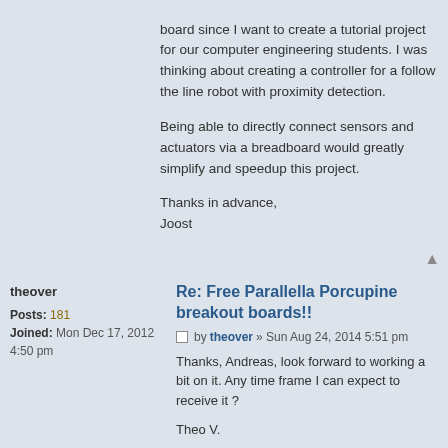board since I want to create a tutorial project for our computer engineering students. I was thinking about creating a controller for a follow the line robot with proximity detection.

Being able to directly connect sensors and actuators via a breadboard would greatly simplify and speedup this project.

Thanks in advance,
Joost
Re: Free Parallella Porcupine breakout boards!!
by theover » Sun Aug 24, 2014 5:51 pm

Thanks, Andreas, look forward to working a bit on it. Any time frame I can expect to receive it ?

Theo V.
Re: Free Parallella Porcupine breakout boards!!